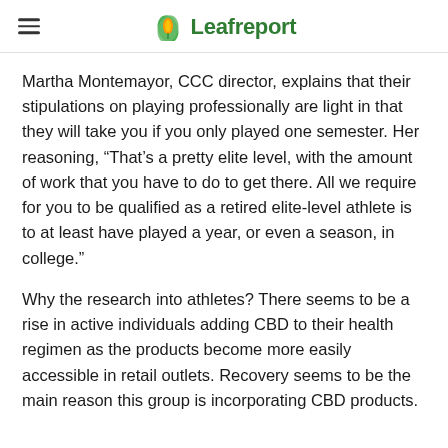Leafreport
Martha Montemayor, CCC director, explains that their stipulations on playing professionally are light in that they will take you if you only played one semester. Her reasoning, “That’s a pretty elite level, with the amount of work that you have to do to get there. All we require for you to be qualified as a retired elite-level athlete is to at least have played a year, or even a season, in college.”
Why the research into athletes? There seems to be a rise in active individuals adding CBD to their health regimen as the products become more easily accessible in retail outlets. Recovery seems to be the main reason this group is incorporating CBD products.